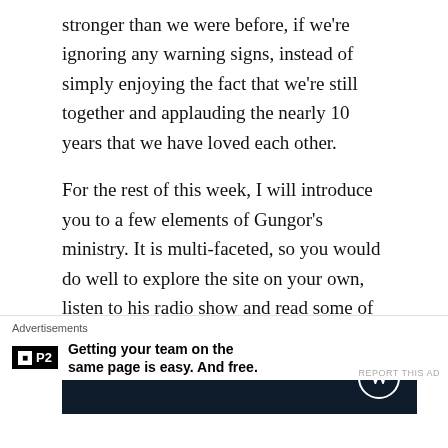stronger than we were before, if we're ignoring any warning signs, instead of simply enjoying the fact that we're still together and applauding the nearly 10 years that we have loved each other.
For the rest of this week, I will introduce you to a few elements of Gungor's ministry. It is multi-faceted, so you would do well to explore the site on your own, listen to his radio show and read some of his articles. Laugh hard, come back here and share your joy and relief with me.
Advertisements
[Figure (other): Dark navy advertisement banner with WordPress logo (circle W) on the right side]
Advertisements
[Figure (other): P2 advertisement: black P2 logo icon followed by 'Getting your team on the same page is easy. And free.']